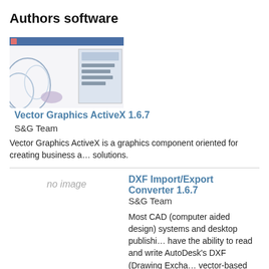Authors software
Vector Graphics ActiveX 1.6.7
S&G Team
[Figure (screenshot): Thumbnail screenshot of Vector Graphics ActiveX software interface]
Vector Graphics ActiveX is a graphics component oriented for creating business and solutions.
DXF Import/Export Converter 1.6.7
S&G Team
no image
Most CAD (computer aided design) systems and desktop publishing have the ability to read and write AutoDesk's DXF (Drawing Exchange vector-based files.
Similar software
Vector Graphics ActiveX 1.6.7
S&G Team
[Figure (screenshot): Thumbnail screenshot of Vector Graphics ActiveX software interface]